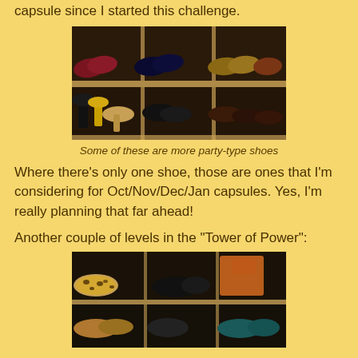capsule since I started this challenge.
[Figure (photo): Shoe shelf/rack showing multiple pairs of shoes including heels, flats, and pumps in various colors arranged on wooden shelving units.]
Some of these are more party-type shoes
Where there's only one shoe, those are ones that I'm considering for Oct/Nov/Dec/Jan capsules. Yes, I'm really planning that far ahead!
Another couple of levels in the "Tower of Power":
[Figure (photo): Another couple of levels of the shoe storage tower showing more shoes including leopard print flats, dark loafers, and various casual shoes on wooden shelves.]